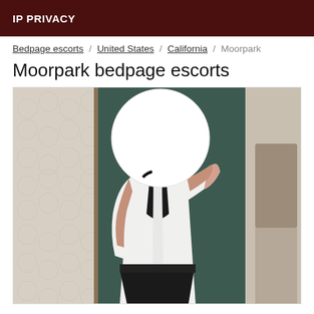IP PRIVACY
Bedpage escorts / United States / California / Moorpark
Moorpark bedpage escorts
[Figure (photo): Person wearing white button-up shirt and black skirt, face obscured by a white circle, posing in a mirror selfie]